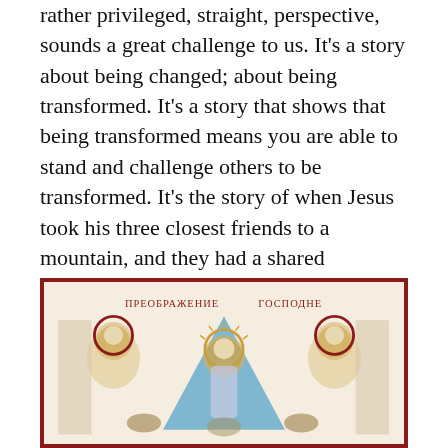rather privileged, straight, perspective, sounds a great challenge to us. It's a story about being changed; about being transformed. It's a story that shows that being transformed means you are able to stand and challenge others to be transformed. It's the story of when Jesus took his three closest friends to a mountain, and they had a shared experience of seeing Jesus standing between two of the greats of their people: Moses, to whom God had given the Law to govern the people of Israel, and Elijah, through whom God had established a long line of prophets in Israel.
[Figure (illustration): A Russian Orthodox icon depicting the Transfiguration of the Lord (Преображение Господне). Jesus stands in the center within a blue mandorla, flanked by figures with golden halos. The icon has a dark red border and a light beige background.]